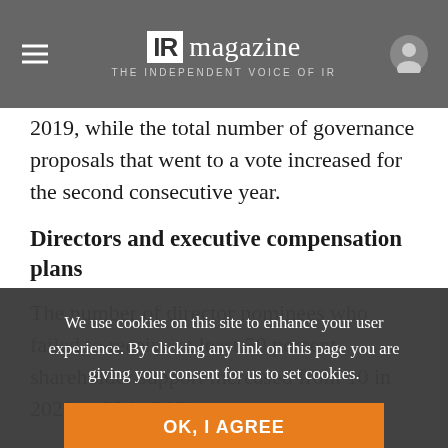IR magazine — THE INDEPENDENT VOICE OF IR
2019, while the total number of governance proposals that went to a vote increased for the second consecutive year.
Directors and executive compensation plans
The number of director nominees who failed to receive at least 50 percent shareholder support increased from 10 in 2020 to 28 in 2021
We use cookies on this site to enhance your user experience. By clicking any link on this page you are giving your consent for us to set cookies.
OK, I AGREE